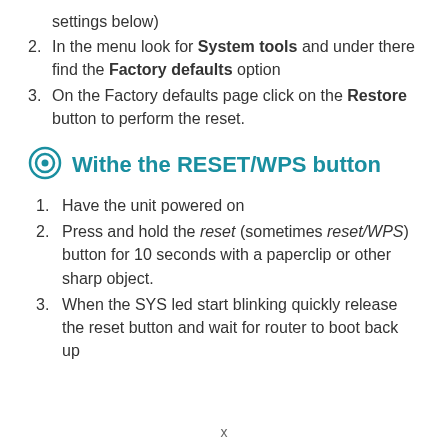settings below)
In the menu look for System tools and under there find the Factory defaults option
On the Factory defaults page click on the Restore button to perform the reset.
Withe the RESET/WPS button
Have the unit powered on
Press and hold the reset (sometimes reset/WPS) button for 10 seconds with a paperclip or other sharp object.
When the SYS led start blinking quickly release the reset button and wait for router to boot back up
x